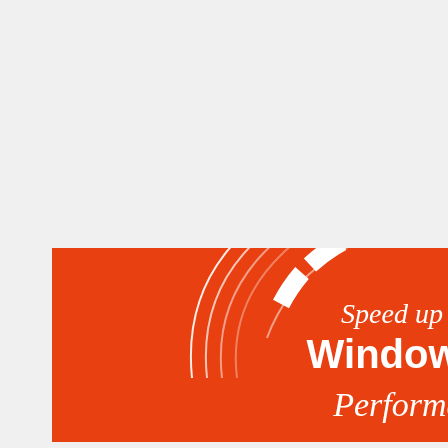[Figure (illustration): Orange rectangular banner with a white speedometer arc graphic at the top and white text reading 'Speed up Windows 10 Performance']